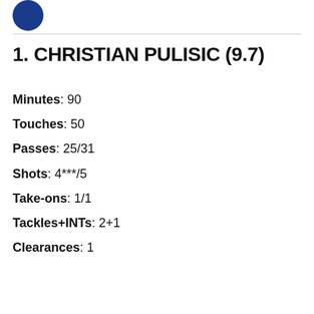[Figure (logo): Blue circular logo partially visible at top left]
1. CHRISTIAN PULISIC (9.7)
Minutes: 90
Touches: 50
Passes: 25/31
Shots: 4***/5
Take-ons: 1/1
Tackles+INTs: 2+1
Clearances: 1